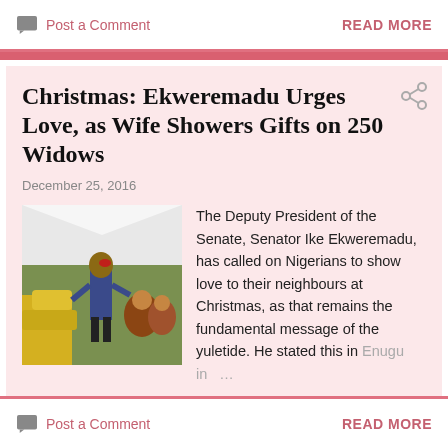Post a Comment   READ MORE
Christmas: Ekweremadu Urges Love, as Wife Showers Gifts on 250 Widows
December 25, 2016
[Figure (photo): A man standing at an outdoor event with people seated and goods displayed around him]
The Deputy President of the Senate, Senator Ike Ekweremadu, has called on Nigerians to show love to their neighbours at Christmas, as that remains the fundamental message of the yuletide. He stated this in Enugu in ...
Post a Comment   READ MORE